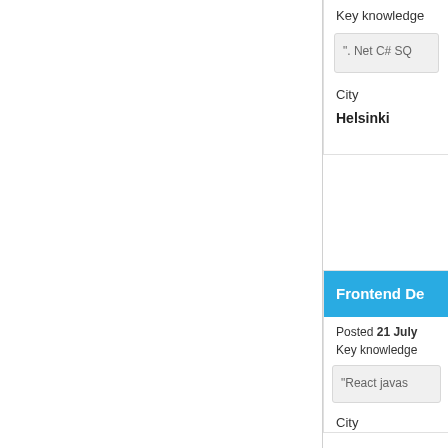Key knowledge
". Net C# SQ
City
Helsinki
Frontend De
Posted 21 July
Key knowledge
"React javas
City